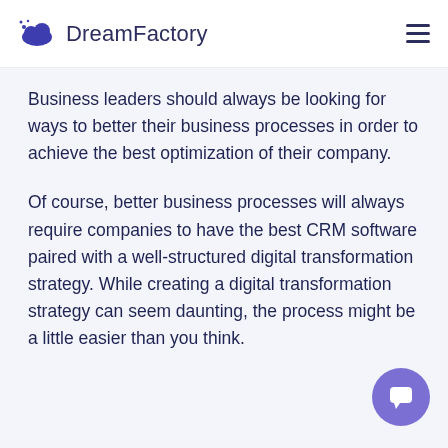DreamFactory
Business leaders should always be looking for ways to better their business processes in order to achieve the best optimization of their company.
Of course, better business processes will always require companies to have the best CRM software paired with a well-structured digital transformation strategy. While creating a digital transformation strategy can seem daunting, the process might be a little easier than you think.
[Figure (illustration): Purple circular chat/support button with speech bubble icon in the bottom-right corner]